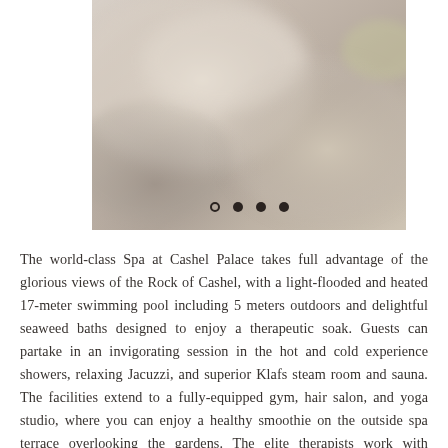[Figure (photo): A blurred, soft-focus photograph of a spa interior, showing warm beige and tan tones with soft lighting suggesting a luxurious wellness environment. Carousel navigation dots are visible at the bottom of the image.]
The world-class Spa at Cashel Palace takes full advantage of the glorious views of the Rock of Cashel, with a light-flooded and heated 17-meter swimming pool including 5 meters outdoors and delightful seaweed baths designed to enjoy a therapeutic soak. Guests can partake in an invigorating session in the hot and cold experience showers, relaxing Jacuzzi, and superior Klafs steam room and sauna. The facilities extend to a fully-equipped gym, hair salon, and yoga studio, where you can enjoy a healthy smoothie on the outside spa terrace overlooking the gardens. The elite therapists work with Bamford, Valmont, and Skin by Olga